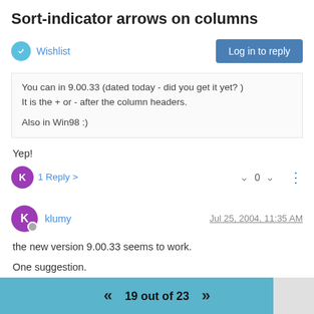Sort-indicator arrows on columns
Wishlist
Log in to reply
You can in 9.00.33 (dated today - did you get it yet? )
It is the + or - after the column headers.

Also in Win98 :)
Yep!
1 Reply >
0
klumy
Jul 25, 2004, 11:35 AM
the new version 9.00.33 seems to work.

One suggestion.
Is it possible to make a seperator between the name and the +
19 out of 23